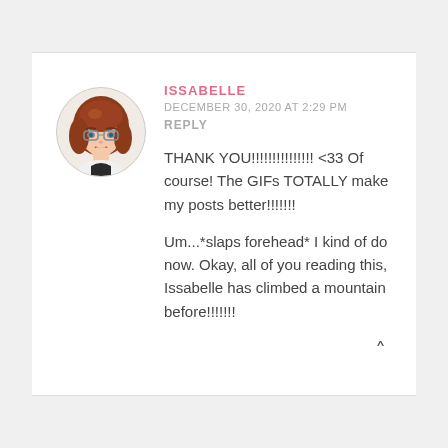[Figure (illustration): Circular avatar of an illustrated female character with red-brown wavy hair and glasses]
ISSABELLE
DECEMBER 30, 2020 AT 2:29 PM
REPLY
THANK YOU!!!!!!!!!!!!!!! <33 Of course! The GIFs TOTALLY make my posts better!!!!!!!
Um...*slaps forehead* I kind of do now. Okay, all of you reading this, Issabelle has climbed a mountain before!!!!!!!